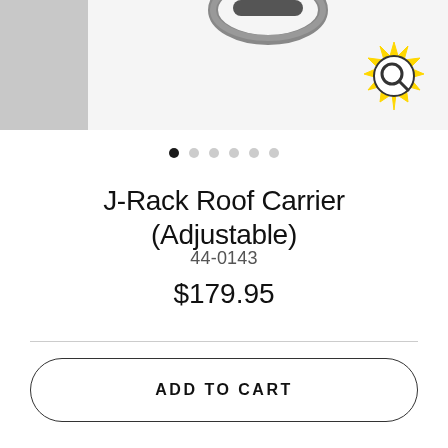[Figure (photo): Product image area showing a J-Rack Roof Carrier (partially visible at top), with a grey panel on the left and a magnify/zoom icon in the upper right]
[Figure (other): Carousel dot indicators: 6 dots, first one filled/active, remaining 5 empty/grey]
J-Rack Roof Carrier (Adjustable)
44-0143
$179.95
ADD TO CART